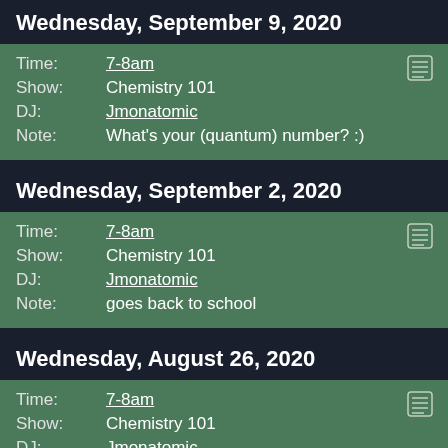Wednesday, September 9, 2020
Time: 7-8am
Show: Chemistry 101
DJ: Jmonatomic
Note: What's your (quantum) number? :)
Wednesday, September 2, 2020
Time: 7-8am
Show: Chemistry 101
DJ: Jmonatomic
Note: goes back to school
Wednesday, August 26, 2020
Time: 7-8am
Show: Chemistry 101
DJ: Jmonatomic
Note: Chem 101 coming at you live from the air quotes home studio pt I don't